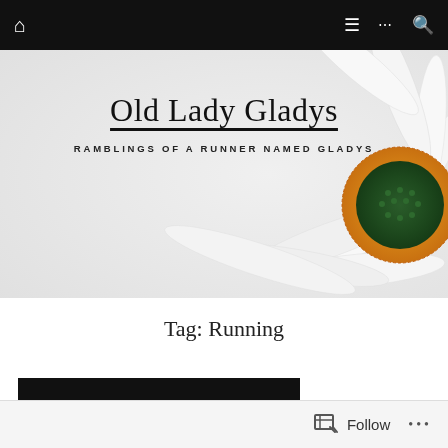Old Lady Gladys — navigation bar with home icon, menu, ellipsis, search icons
[Figure (photo): Close-up photo of a white daisy flower with a green and yellow center on the right side, light gray/white background on left, used as hero banner for the blog 'Old Lady Gladys — Ramblings of a Runner Named Gladys']
Old Lady Gladys
RAMBLINGS OF A RUNNER NAMED GLADYS
Tag: Running
Without Music
Follow  •••